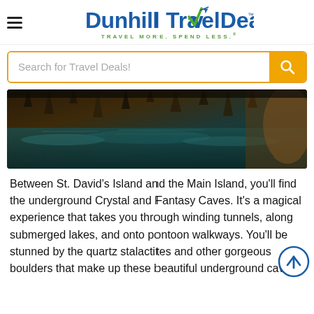[Figure (logo): DunhillTravelDeals logo with airplane icon, tagline TRAVEL MORE. SPEND LESS.]
Search for Travel Deals!
[Figure (photo): Underground cave with submerged lake, stalactites reflecting on water surface, teal and golden tones]
Between St. David's Island and the Main Island, you'll find the underground Crystal and Fantasy Caves. It's a magical experience that takes you through winding tunnels, along submerged lakes, and onto pontoon walkways. You'll be stunned by the quartz stalactites and other gorgeous boulders that make up these beautiful underground caves.